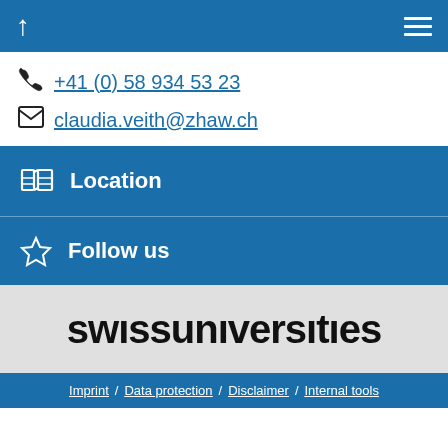Navigation bar with back arrow and hamburger menu
+41 (0) 58 934 53 23
claudia.veith@zhaw.ch
Location
Follow us
[Figure (logo): swissuniversities logo in bold black text on light grey background]
Imprint / Data protection / Disclaimer / Internal tools